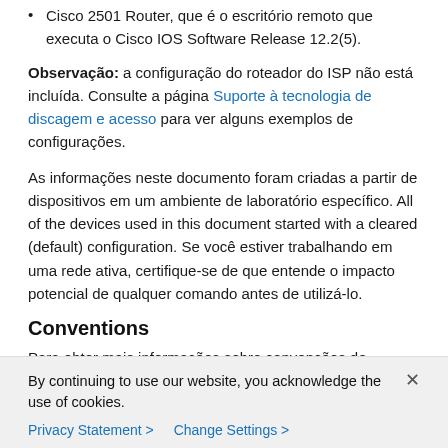Cisco 2501 Router, que é o escritório remoto que executa o Cisco IOS Software Release 12.2(5).
Observação: a configuração do roteador do ISP não está incluída. Consulte a página Suporte à tecnologia de discagem e acesso para ver alguns exemplos de configurações.
As informações neste documento foram criadas a partir de dispositivos em um ambiente de laboratório específico. All of the devices used in this document started with a cleared (default) configuration. Se você estiver trabalhando em uma rede ativa, certifique-se de que entende o impacto potencial de qualquer comando antes de utilizá-lo.
Conventions
Para obter mais informações sobre convenções de documento, consulte as Convenções de dicas técnicas
By continuing to use our website, you acknowledge the use of cookies.
Privacy Statement > Change Settings >